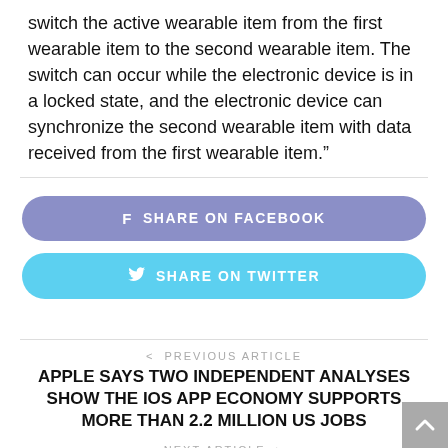switch the active wearable item from the first wearable item to the second wearable item. The switch can occur while the electronic device is in a locked state, and the electronic device can synchronize the second wearable item with data received from the first wearable item.”
f  SHARE ON FACEBOOK
ᵤ  SHARE ON TWITTER
< PREVIOUS ARTICLE
APPLE SAYS TWO INDEPENDENT ANALYSES SHOW THE IOS APP ECONOMY SUPPORTS MORE THAN 2.2 MILLION US JOBS
NEXT ARTICLE >
AN APPLE CAR DIRECTOR DRIVES FROM APPLE TO